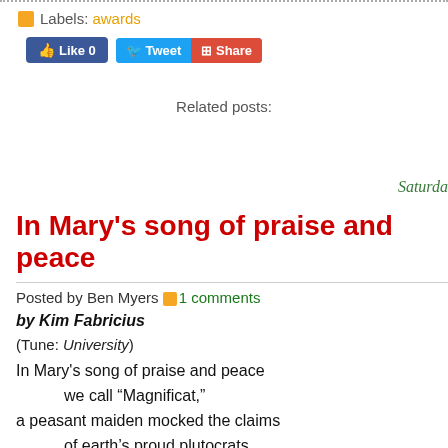Labels: awards
[Figure (screenshot): Social sharing buttons: Facebook Like (0), Tweet, Share]
Related posts:
Saturda
In Mary's song of praise and peace
Posted by Ben Myers 1 comments
by Kim Fabricius
(Tune: University)
In Mary's song of praise and peace
    we call “Magnificat,”
a peasant maiden mocked the claims
    of earth’s proud plutocrats.